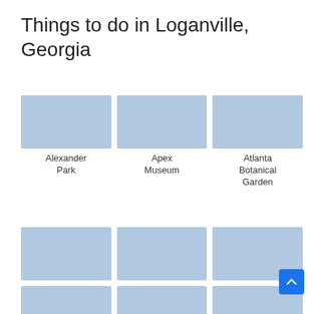Things to do in Loganville, Georgia
[Figure (photo): Alexander Park - outdoor park with pavilion and playground]
Alexander Park
[Figure (photo): Apex Museum - brick building exterior with sign]
Apex Museum
[Figure (photo): Atlanta Botanical Garden - fountain and lush green plants]
Atlanta Botanical Garden
[Figure (photo): Bay Creek Park - colorful playground equipment]
Bay Creek Park
[Figure (photo): Boondocks - indoor entertainment venue with drums]
Boondocks
[Figure (photo): Briscoe Park - lake with trees and blue sky]
Briscoe Park
[Figure (photo): Partially visible photo row 3 left]
[Figure (photo): Partially visible photo row 3 center - colorful slide]
[Figure (photo): Partially visible photo row 3 right - indoor space]